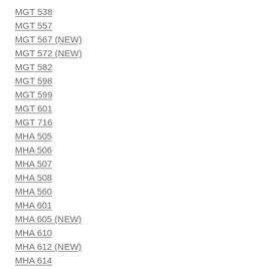MGT 538
MGT 557
MGT 567 (NEW)
MGT 572 (NEW)
MGT 582
MGT 598
MGT 599
MGT 601
MGT 716
MHA 505
MHA 506
MHA 507
MHA 508
MHA 560
MHA 601
MHA 605 (NEW)
MHA 610
MHA 612 (NEW)
MHA 614